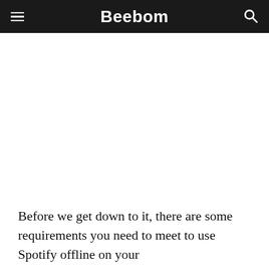Beebom
Before we get down to it, there are some requirements you need to meet to use Spotify offline on your